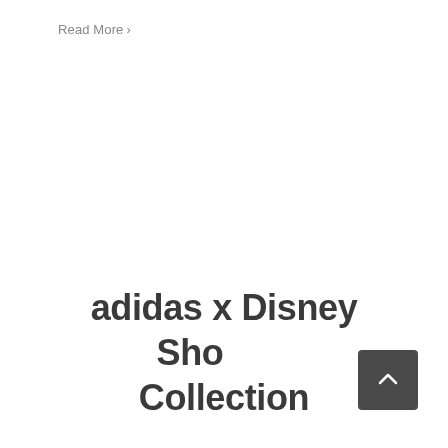Read More >
adidas x Disney Shoes Collection